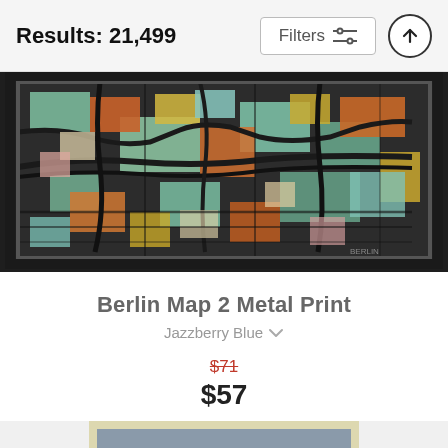Results: 21,499
Filters
[Figure (illustration): Berlin Map 2 colorful abstract city map print on dark background mounted on wall]
Berlin Map 2 Metal Print
Jazzberry Blue
$71 $57
[Figure (photo): Partially visible second product image showing a framed print with cream border and blue-grey content, cropped at bottom of page]